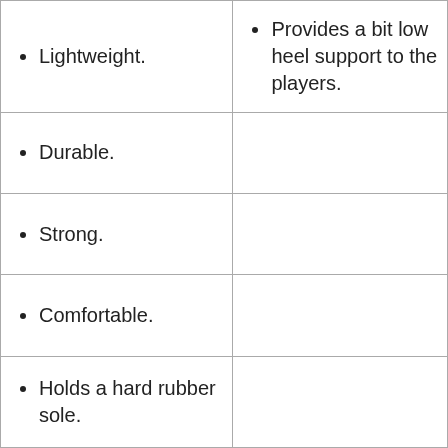| Lightweight. | Provides a bit low heel support to the players. |
| Durable. |  |
| Strong. |  |
| Comfortable. |  |
| Holds a hard rubber sole. |  |